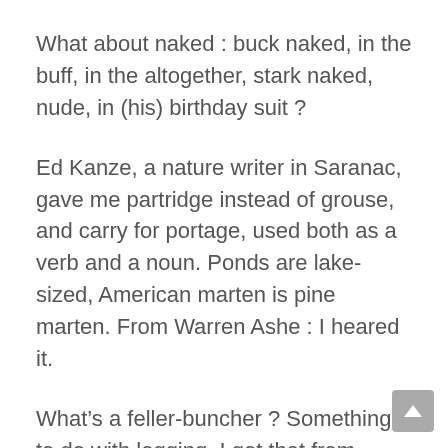What about naked : buck naked, in the buff, in the altogether, stark naked, nude, in (his) birthday suit ?
Ed Kanze, a nature writer in Saranac, gave me partridge instead of grouse, and carry for portage, used both as a verb and a noun. Ponds are lake-sized, American marten is pine marten. From Warren Ashe : I heared it.
What’s a feller-buncher ? Something to do with logging. I got that from Gerry Jenkins’ Atlas of the Adirondacks, page 107. Jenkin’s lives down in White Creek and would be a good brain to pick for this dialect project. Steve Smith had never heard of the term, but thought that maybe it